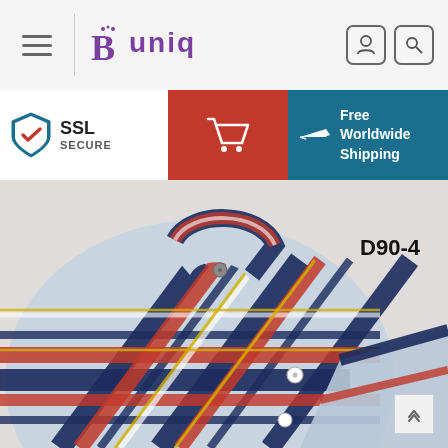BUNIQ — SSL Secure, Free Worldwide Shipping
[Figure (screenshot): E-commerce website header showing BUNIQ logo with hamburger menu and user/search icons]
SSL SECURE
Free Worldwide Shipping
[Figure (photo): Folded plaid shirt in blue, red, white and yellow tartan pattern, product code D90-4]
D90-4